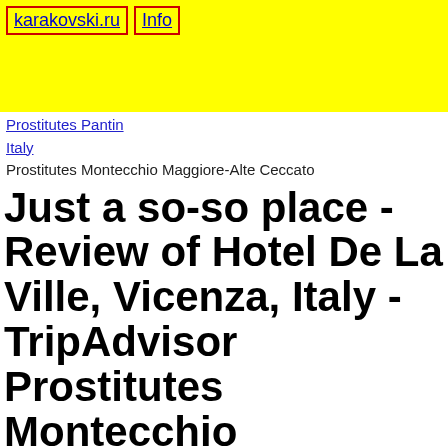karakovski.ru  Info
Prostitutes Pantin
Italy
Prostitutes Montecchio Maggiore-Alte Ceccato
Just a so-so place - Review of Hotel De La Ville, Vicenza, Italy - TripAdvisor Prostitutes Montecchio Maggiore-Alte Ceccato
Date:2019-10-25